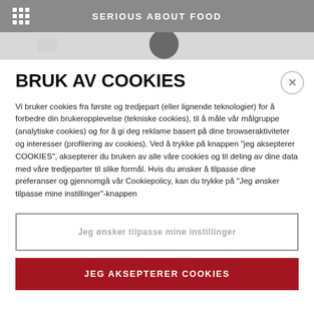SERIOUS ABOUT FOOD
[Figure (photo): Partial image strip showing a dark circular object on a light gray background, resembling a cropped food photograph]
BRUK AV COOKIES
Vi bruker cookies fra første og tredjepart (eller lignende teknologier) for å forbedre din brukeropplevelse (tekniske cookies), til å måle vår målgruppe (analytiske cookies) og for å gi deg reklame basert på dine browseraktiviteter og interesser (profilering av cookies). Ved å trykke på knappen "jeg aksepterer COOKIES", aksepterer du bruken av alle våre cookies og til deling av dine data med våre tredjeparter til slike formål. Hvis du ønsker å tilpasse dine preferanser og gjennomgå vår Cookiepolicy, kan du trykke på "Jeg ønsker tilpasse mine instillinger"-knappen
Jeg ønsker tilpasse mine instillinger
JEG AKSEPTERER COOKIES